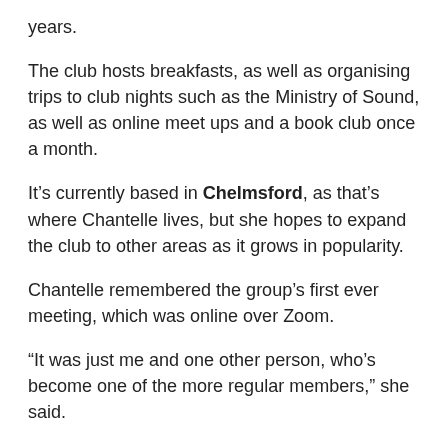years.
The club hosts breakfasts, as well as organising trips to club nights such as the Ministry of Sound, as well as online meet ups and a book club once a month.
It's currently based in Chelmsford, as that's where Chantelle lives, but she hopes to expand the club to other areas as it grows in popularity.
Chantelle remembered the group's first ever meeting, which was online over Zoom.
“It was just me and one other person, who’s become one of the more regular members,” she said.
“And it’s built over time to a couple of hundred members on Meetup, and more on Facebook.”
People are now creating their own friendship groups from